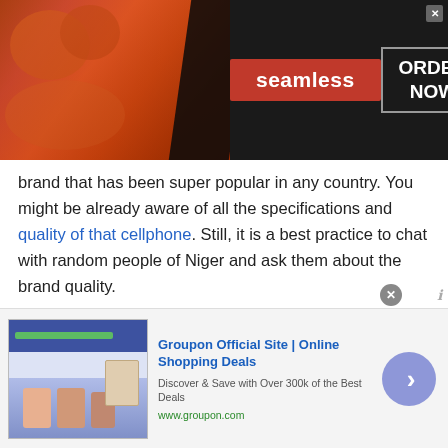[Figure (screenshot): Seamless food delivery advertisement banner with pizza image, red Seamless logo badge, and ORDER NOW button in dark background]
brand that has been super popular in any country. You might be already aware of all the specifications and quality of that cellphone. Still, it is a best practice to chat with random people of Niger and ask them about the brand quality.
7. Create a common ground:
If you want to chat with people of Niger and attract people towards you, then praise what they talk about the most. Let us suppose if the other person
[Figure (screenshot): Groupon Official Site advertisement banner with thumbnail image, title 'Groupon Official Site | Online Shopping Deals', subtitle 'Discover & Save with Over 300k of the Best Deals', url 'www.groupon.com', and a blue arrow navigation button]